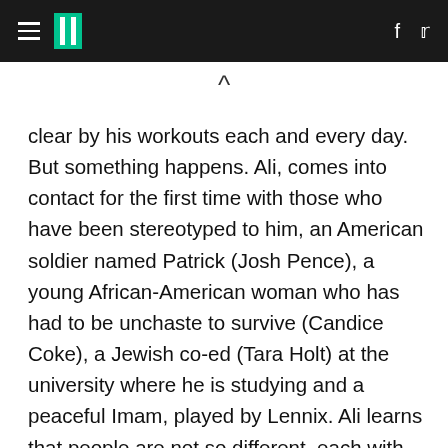HuffPost
clear by his workouts each and every day. But something happens. Ali, comes into contact for the first time with those who have been stereotyped to him, an American soldier named Patrick (Josh Pence), a young African-American woman who has had to be unchaste to survive (Candice Coke), a Jewish co-ed (Tara Holt) at the university where he is studying and a peaceful Imam, played by Lennix. Ali learns that people are not so different, each with their own struggles and passions not so different from his, not just cardboard cut-outs as they had been to him